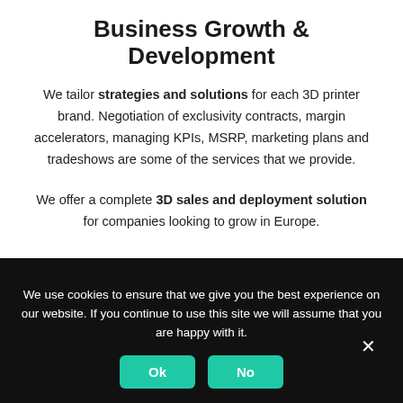Business Growth & Development
We tailor strategies and solutions for each 3D printer brand. Negotiation of exclusivity contracts, margin accelerators, managing KPIs, MSRP, marketing plans and tradeshows are some of the services that we provide.
We offer a complete 3D sales and deployment solution for companies looking to grow in Europe.
We use cookies to ensure that we give you the best experience on our website. If you continue to use this site we will assume that you are happy with it.